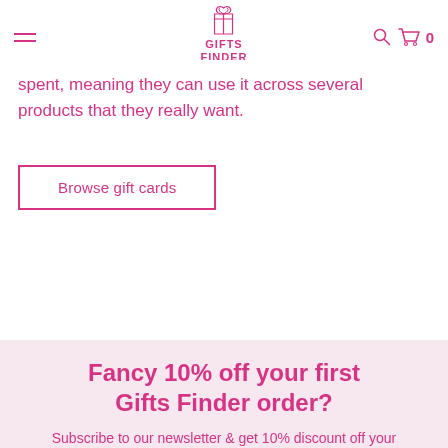GIFTS FINDER
spent, meaning they can use it across several products that they really want.
Browse gift cards
Fancy 10% off your first Gifts Finder order?
Subscribe to our newsletter & get 10% discount off your first order! We will send you special offers & deals plus we will let